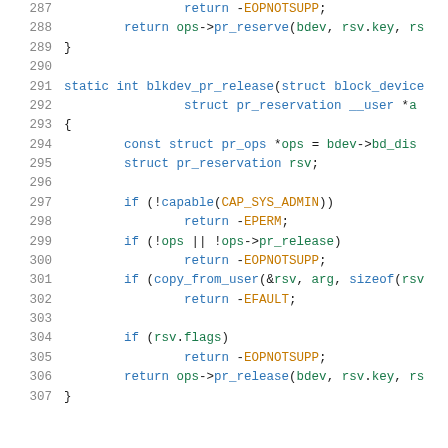[Figure (screenshot): Source code listing in C showing lines 287-307, including blkdev_pr_release function definition with syntax highlighting. Line numbers in grey on left, keywords in blue, macros/constants in orange, variables in green.]